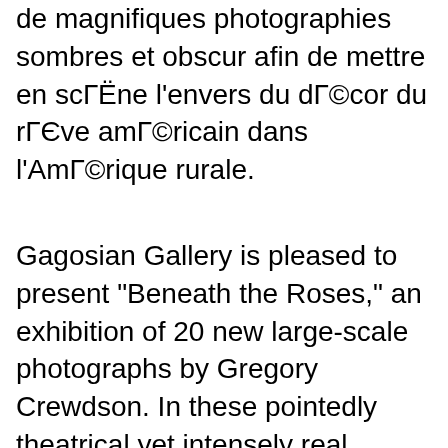de magnifiques photographies sombres et obscur afin de mettre en scГЁne l'envers du dГ©cor du rГЄve amГ©ricain dans l'AmГ©rique rurale.
Gagosian Gallery is pleased to present "Beneath the Roses," an exhibition of 20 new large-scale photographs by Gregory Crewdson. In these pointedly theatrical yet intensely real panoramic images, Crewdson explores the recesses of the American psyche and the disturbing dramas at play within quotidian environments. рц"ль Gregory Crewdson "Beneath the Roses" - essay example for free Newyorkessays - database with more than 65000 college essays for studying гЂ'